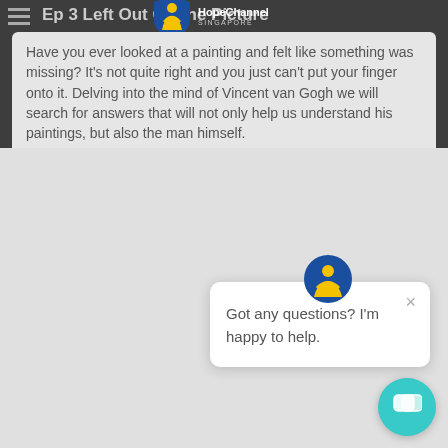Ep 3 Left Out Of The Picture
[Figure (logo): Hope Channel Singapore logo - shield shape with person figure, text HopeChannel SINGAPORE]
Have you ever looked at a painting and felt like something was missing? It's not quite right and you just can't put your finger onto it. Delving into the mind of Vincent van Gogh we will search for answers that will not only help us understand his paintings, but also the man himself.
[Figure (screenshot): Chat widget popup with Hope Channel Singapore circular icon, close button X, and text 'Got any questions? I'm happy to help.' and teal chat button at bottom right]